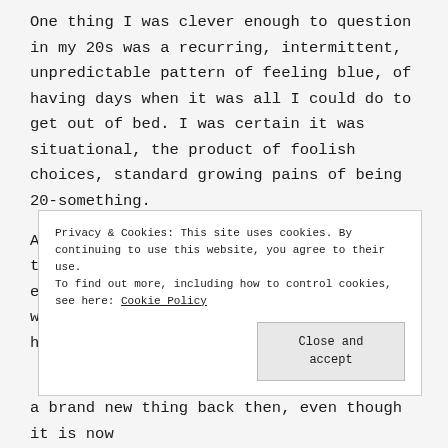One thing I was clever enough to question in my 20s was a recurring, intermittent, unpredictable pattern of feeling blue, of having days when it was all I could do to get out of bed. I was certain it was situational, the product of foolish choices, standard growing pains of being 20-something.
At the time I was working for a telecommunications company, full of engineers and analytical types. Since I worked in marketing I was often asked to help with employee
Privacy & Cookies: This site uses cookies. By continuing to use this website, you agree to their use.
To find out more, including how to control cookies, see here: Cookie Policy
Close and accept
a brand new thing back then, even though it is now